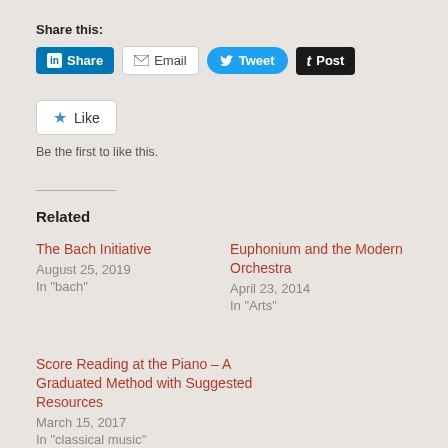Share this:
[Figure (screenshot): Social share buttons: LinkedIn Share, Email, Tweet, Post]
[Figure (screenshot): Like button with star icon]
Be the first to like this.
Related
The Bach Initiative
August 25, 2019
In "bach"
Euphonium and the Modern Orchestra
April 23, 2014
In "Arts"
Score Reading at the Piano – A Graduated Method with Suggested Resources
March 15, 2017
In "classical music"